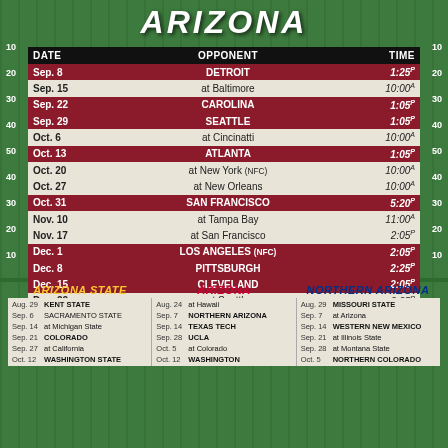ARIZONA
| DATE | OPPONENT | TIME |
| --- | --- | --- |
| Sep. 8 | DETROIT | 1:25P |
| Sep. 15 | at Baltimore | 10:00A |
| Sep. 22 | CAROLINA | 1:05P |
| Sep. 29 | SEATTLE | 1:05P |
| Oct. 6 | at Cincinatti | 10:00A |
| Oct. 13 | ATLANTA | 1:05P |
| Oct. 20 | at New York (NFC) | 10:00A |
| Oct. 27 | at New Orleans | 10:00A |
| Oct. 31 | SAN FRANCISCO | 5:20P |
| Nov. 10 | at Tampa Bay | 11:00A |
| Nov. 17 | at San Francisco | 2:05P |
| Dec. 1 | LOS ANGELES (NFC) | 2:05P |
| Dec. 8 | PITTSBURGH | 2:25P |
| Dec. 15 | CLEVELAND | 2:05P |
| Dec. 22 | at Seattle | 2:25P |
| Dec. 29 | at Los Angeles (NFC) | 2:25P |
Home games in ALL CAPS. All times local. Dates & times subject to change. Games may shift to Sunday night due to flex-scheduling.
ARIZONA STATE | ARIZONA | NORTHERN ARIZONA
| Date | Opponent |
| --- | --- |
| Aug. 29 | KENT STATE |
| Sep. 6 | SACRAMENTO STATE |
| Sep. 14 | at Michigan State |
| Sep. 21 | COLORADO |
| Sep. 27 | at California |
| Oct. 12 | WASHINGTON STATE |
| Date | Opponent |
| --- | --- |
| Aug. 24 | at Hawaii |
| Sep. 7 | NORTHERN ARIZONA |
| Sep. 14 | TEXAS TECH |
| Sep. 28 | UCLA |
| Oct. 5 | at Colorado |
| Oct. 12 | WASHINGTON |
| Date | Opponent |
| --- | --- |
| Aug. 29 | MISSOURI STATE |
| Sep. 7 | at Arizona |
| Sep. 14 | WESTERN NEW MEXICO |
| Sep. 21 | at Illinois State |
| Sep. 28 | at Montana State |
| Oct. 5 | NORTHERN COLORADO |